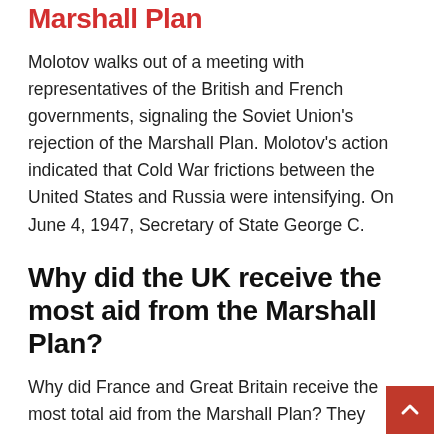Marshall Plan
Molotov walks out of a meeting with representatives of the British and French governments, signaling the Soviet Union's rejection of the Marshall Plan. Molotov's action indicated that Cold War frictions between the United States and Russia were intensifying. On June 4, 1947, Secretary of State George C.
Why did the UK receive the most aid from the Marshall Plan?
Why did France and Great Britain receive the most total aid from the Marshall Plan? They